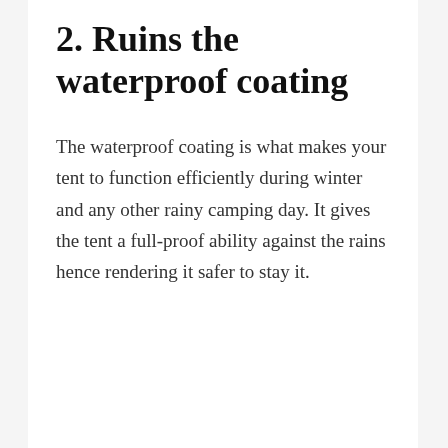2. Ruins the waterproof coating
The waterproof coating is what makes your tent to function efficiently during winter and any other rainy camping day. It gives the tent a full-proof ability against the rains hence rendering it safer to stay it.